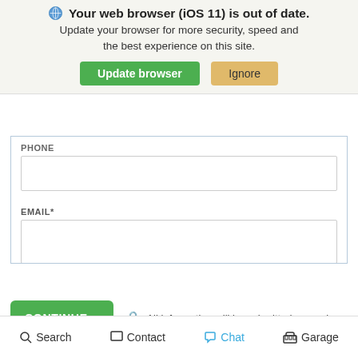Your web browser (iOS 11) is out of date. Update your browser for more security, speed and the best experience on this site.
[Figure (screenshot): Green 'Update browser' button and tan 'Ignore' button in browser update banner]
PHONE
[Figure (screenshot): Empty phone input field]
EMAIL*
[Figure (screenshot): Empty email input field]
ZIP CODE*
[Figure (screenshot): Empty zip code input field (half width)]
CONTINUE→
All information will be submitted securely.
Search   Contact   Chat   Garage